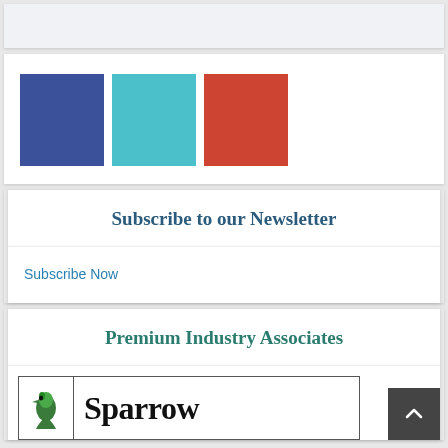[Figure (other): Top card with light blue/gray background strip at top]
[Figure (illustration): Three colored squares: dark blue, teal, and red-orange]
Subscribe to our Newsletter
Subscribe Now
Premium Industry Associates
[Figure (logo): Sparrow logo with bird icon and text 'Sparrow']